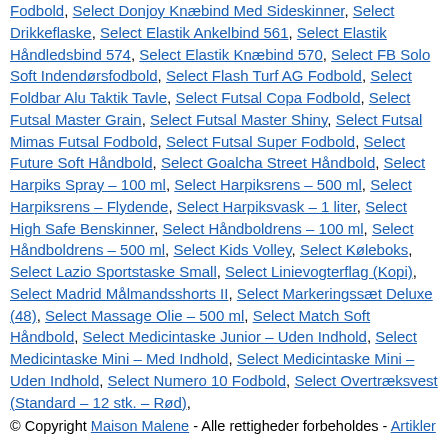Fodbold, Select Donjoy Knæbind Med Sideskinner, Select Drikkeflaske, Select Elastik Ankelbind 561, Select Elastik Håndledsbind 574, Select Elastik Knæbind 570, Select FB Solo Soft Indendørsfodbold, Select Flash Turf AG Fodbold, Select Foldbar Alu Taktik Tavle, Select Futsal Copa Fodbold, Select Futsal Master Grain, Select Futsal Master Shiny, Select Futsal Mimas Futsal Fodbold, Select Futsal Super Fodbold, Select Future Soft Håndbold, Select Goalcha Street Håndbold, Select Harpiks Spray – 100 ml, Select Harpiksrens – 500 ml, Select Harpiksrens – Flydende, Select Harpiksvask – 1 liter, Select High Safe Benskinner, Select Håndboldrens – 100 ml, Select Håndboldrens – 500 ml, Select Kids Volley, Select Køleboks, Select Lazio Sportstaske Small, Select Linievogterflag (Kopi), Select Madrid Målmandsshorts II, Select Markeringssæt Deluxe (48), Select Massage Olie – 500 ml, Select Match Soft Håndbold, Select Medicintaske Junior – Uden Indhold, Select Medicintaske Mini – Med Indhold, Select Medicintaske Mini – Uden Indhold, Select Numero 10 Fodbold, Select Overtræksvest (Standard – 12 stk. – Rød),
© Copyright Maison Malene - Alle rettigheder forbeholdes - Artikler